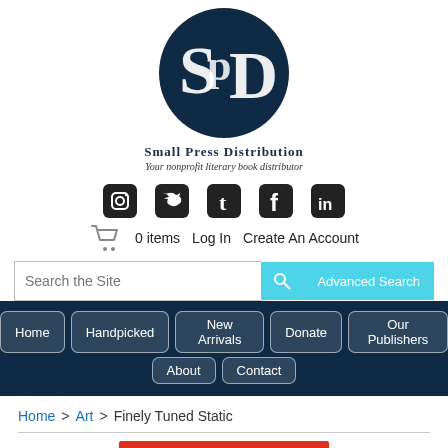[Figure (logo): SPD logo: dark navy circle with white stylized 'SpD' letters. Below: 'Small Press Distribution' in serif font, then 'Your nonprofit literary book distributor' in italic.]
[Figure (infographic): Row of 5 social media icons: Instagram, Twitter, Tumblr, Facebook, LinkedIn — all dark/black square icons.]
0 items   Log In   Create An Account
Search the Site   Advanced Search
Home   Handpicked   New Arrivals   Donate   Our Publishers   About   Contact
Home > Art > Finely Tuned Static
[Figure (photo): Red/orange image partially visible at the bottom of the page.]